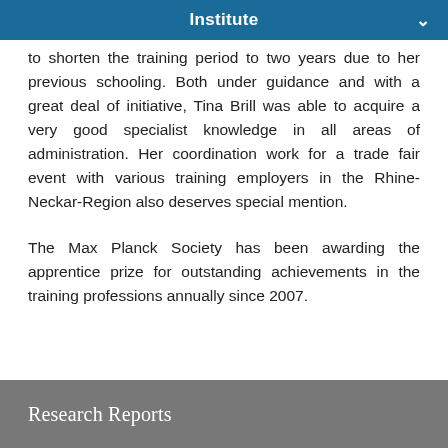Institute
to shorten the training period to two years due to her previous schooling. Both under guidance and with a great deal of initiative, Tina Brill was able to acquire a very good specialist knowledge in all areas of administration. Her coordination work for a trade fair event with various training employers in the Rhine-Neckar-Region also deserves special mention.
The Max Planck Society has been awarding the apprentice prize for outstanding achievements in the training professions annually since 2007.
Research Reports